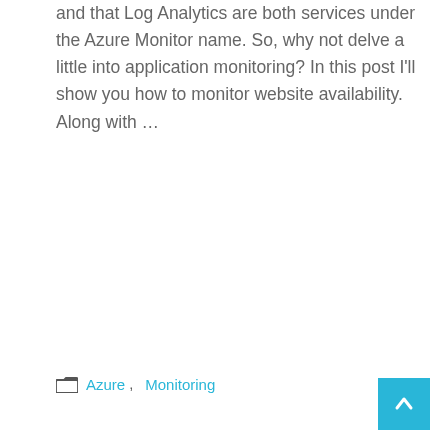and that Log Analytics are both services under the Azure Monitor name. So, why not delve a little into application monitoring? In this post I'll show you how to monitor website availability. Along with …
READ MORE
Azure, Monitoring
Kusto Query Language: the PowerShell of query